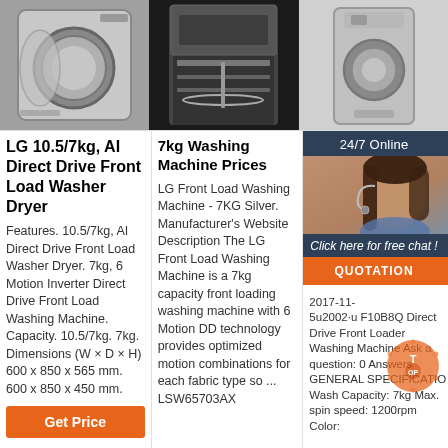[Figure (photo): Front-loading washing machine with open door, silver/chrome finish]
[Figure (photo): Dishwasher with open door, black and white photo]
[Figure (photo): Compact washing machine, silver finish]
LG 10.5/7kg, AI Direct Drive Front Load Washer Dryer
Features. 10.5/7kg, AI Direct Drive Front Load Washer Dryer. 7kg, 6 Motion Inverter Direct Drive Front Load Washing Machine. Capacity. 10.5/7kg. 7kg. Dimensions (W × D × H) 600 x 850 x 565 mm. 600 x 850 x 450 mm.
Get Price
7kg Washing Machine Prices
LG Front Load Washing Machine - 7KG Silver. Manufacturer's Website Description The LG Front Load Washing Machine is a 7kg capacity front loading washing machine with 6 Motion DD technology provides optimized motion combinations for each fabric type so ... LSW65703AX
LG F10 7kg Dir Drive F Loader Washin Machin
2017-11- 5u2002·u F10B8Q Direct Drive Front Loader Washing Machine Ask a question: 0 Answers GENERAL SPECIFICATIO Wash Capacity: 7kg Max. spin speed: 1200rpm Color:
[Figure (photo): Customer service representative with headset, 24/7 Online chat overlay with QUOTATION button]